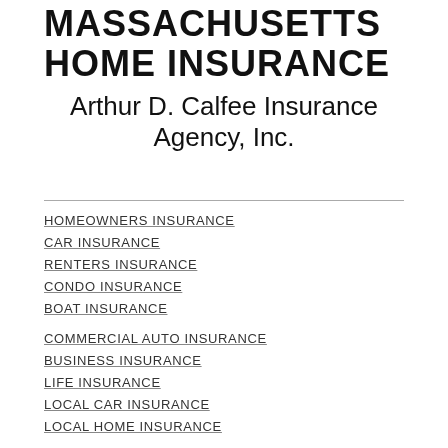MASSACHUSETTS HOME INSURANCE
Arthur D. Calfee Insurance Agency, Inc.
HOMEOWNERS INSURANCE
CAR INSURANCE
RENTERS INSURANCE
CONDO INSURANCE
BOAT INSURANCE
COMMERCIAL AUTO INSURANCE
BUSINESS INSURANCE
LIFE INSURANCE
LOCAL CAR INSURANCE
LOCAL HOME INSURANCE